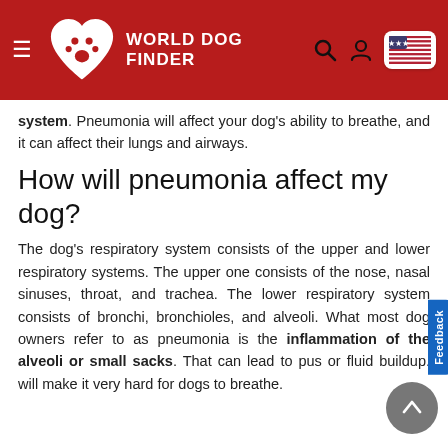World Dog Finder
system. Pneumonia will affect your dog's ability to breathe, and it can affect their lungs and airways.
How will pneumonia affect my dog?
The dog's respiratory system consists of the upper and lower respiratory systems. The upper one consists of the nose, nasal sinuses, throat, and trachea. The lower respiratory system consists of bronchi, bronchioles, and alveoli. What most dog owners refer to as pneumonia is the inflammation of the alveoli or small sacks. That can lead to pus or fluid buildup. will make it very hard for dogs to breathe.